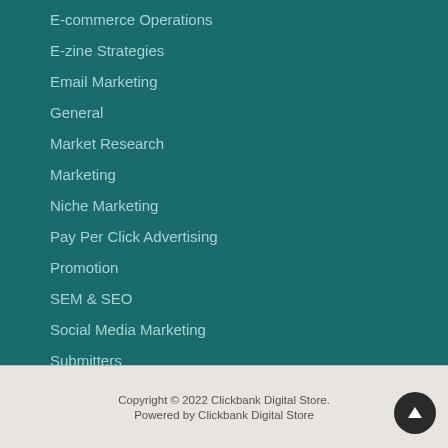E-commerce Operations
E-zine Strategies
Email Marketing
General
Market Research
Marketing
Niche Marketing
Pay Per Click Advertising
Promotion
SEM & SEO
Social Media Marketing
Submitters
Video Marketing
Copyright © 2022 Clickbank Digital Store. Powered by Clickbank Digital Store